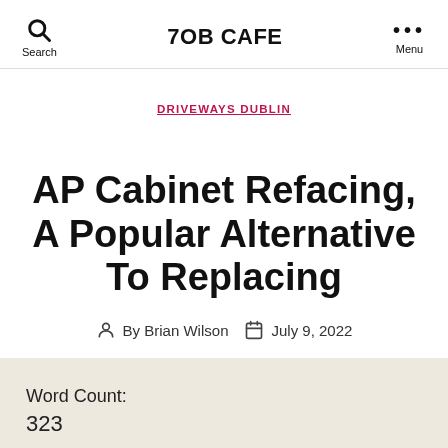7OB CAFE
DRIVEWAYS DUBLIN
AP Cabinet Refacing, A Popular Alternative To Replacing
By Brian Wilson  July 9, 2022
Word Count:
323